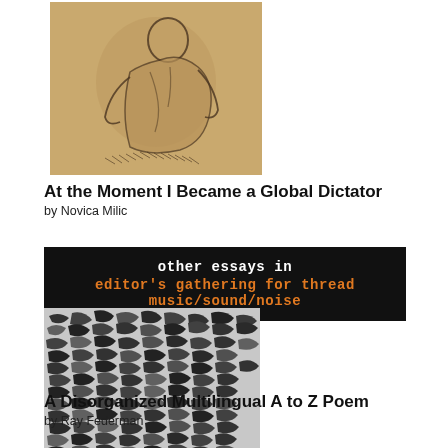[Figure (illustration): A sketch/drawing of a seated or crouching human figure rendered in pencil on tan/golden background paper]
At the Moment I Became a Global Dictator
by Novica Milic
[Figure (infographic): Black banner with white and orange monospaced text reading 'other essays in' and 'editor's gathering for thread music/sound/noise']
[Figure (illustration): A black and white abstract textured image with dense overlapping marks and patterns]
A Disorganized Multilingual A to Z Poem
by Ray Federman